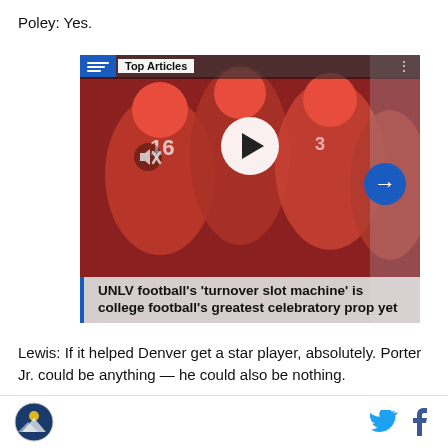Poley: Yes.
[Figure (screenshot): Embedded video card showing UNLV football players in red uniforms. Overlay includes a 'Top Articles' label, a white circular play button in the center, a mute icon on the left, a blue circular arrow button on the right. A grey caption bar at the bottom reads: UNLV football’s ‘turnover slot machine’ is college football’s greatest celebratory prop yet]
Lewis: If it helped Denver get a star player, absolutely. Porter Jr. could be anything — he could also be nothing.